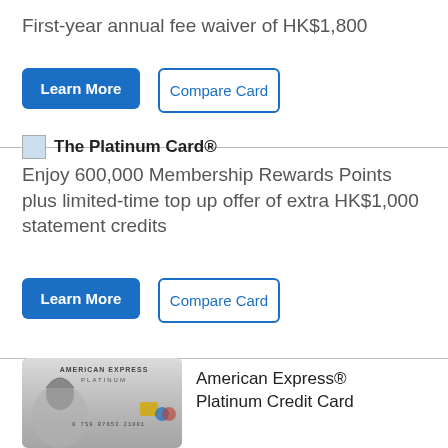First-year annual fee waiver of HK$1,800
Learn More
Compare Card
The Platinum Card®
Enjoy 600,000 Membership Rewards Points plus limited-time top up offer of extra HK$1,000 statement credits
Learn More
Compare Card
[Figure (photo): American Express Platinum credit card image showing a silver card with a Roman warrior figure]
American Express® Platinum Credit Card